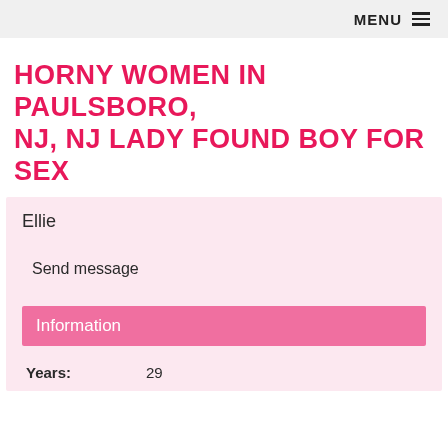MENU ≡
HORNY WOMEN IN PAULSBORO, NJ, NJ LADY FOUND BOY FOR SEX
Ellie
Send message
Information
Years: 29